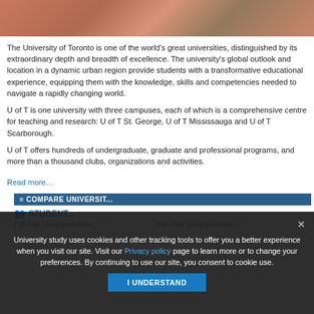[Figure (photo): Photo of students sitting around a table, working together, one person in red]
The University of Toronto is one of the world's great universities, distinguished by its extraordinary depth and breadth of excellence. The university's global outlook and location in a dynamic urban region provide students with a transformative educational experience, equipping them with the knowledge, skills and competencies needed to navigate a rapidly changing world.
U of T is one university with three campuses, each of which is a comprehensive centre for teaching and research: U of T St. George, U of T Mississauga and U of T Scarborough.
U of T offers hundreds of undergraduate, graduate and professional programs, and more than a thousand clubs, organizations and activities.
Read more…
University study uses cookies and other tracking tools to offer you a better experience when you visit our site. Visit our Privacy policy page to learn more or to change your preferences. By continuing to use our site, you consent to cookie use.
I UNDERSTAND